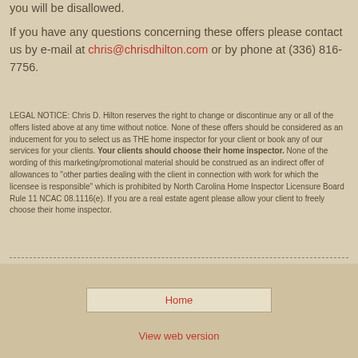you will be disallowed.
If you have any questions concerning these offers please contact us by e-mail at chris@chrisdhilton.com or by phone at (336) 816-7756.
LEGAL NOTICE: Chris D. Hilton reserves the right to change or discontinue any or all of the offers listed above at any time without notice. None of these offers should be considered as an inducement for you to select us as THE home inspector for your client or book any of our services for your clients. Your clients should choose their home inspector. None of the wording of this marketing/promotional material should be construed as an indirect offer of allowances to “other parties dealing with the client in connection with work for which the licensee is responsible” which is prohibited by North Carolina Home Inspector Licensure Board Rule 11 NCAC 08.1116(e). If you are a real estate agent please allow your client to freely choose their home inspector.
Home
View web version